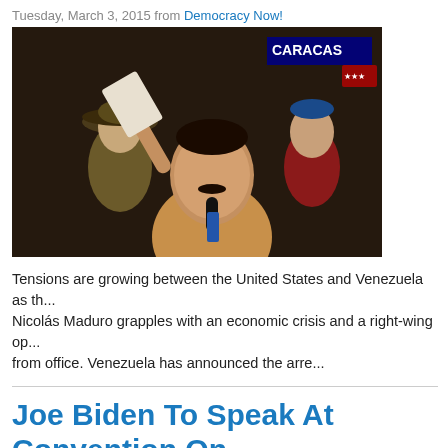Tuesday, March 3, 2015 from Democracy Now!
[Figure (photo): A man in a beige shirt speaking into a microphone at a public event in Caracas, Venezuela; other people in military/civilian attire visible in background, CARACAS chyron in upper right]
Tensions are growing between the United States and Venezuela as th... Nicolás Maduro grapples with an economic crisis and a right-wing op... from office. Venezuela has announced the arre...
Joe Biden To Speak At Convention On Largest Gay Rights Group In US
Tuesday, March 3, 2015 from International Business Times
U.S. Vice President Joe Biden will deliver a speech at the annual con... Campaign (HRC), the largest gay-rights group in the U.S., this week.... for gay, lesbian, bisexual and transge...